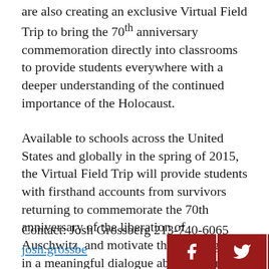are also creating an exclusive Virtual Field Trip to bring the 70th anniversary commemoration directly into classrooms to provide students everywhere with a deeper understanding of the continued importance of the Holocaust.
Available to schools across the United States and globally in the spring of 2015, the Virtual Field Trip will provide students with firsthand accounts from survivors returning to commemorate the 70th anniversary of the liberation of Auschwitz, and motivate them to engage in a meaningful dialogue about history and its relevance today.
Contact: Josh Grossberg 213-740-6065
josh.grossbe...
[Figure (infographic): Social share bar with Facebook, Twitter, LinkedIn, Email, and Print buttons in dark red/maroon color]